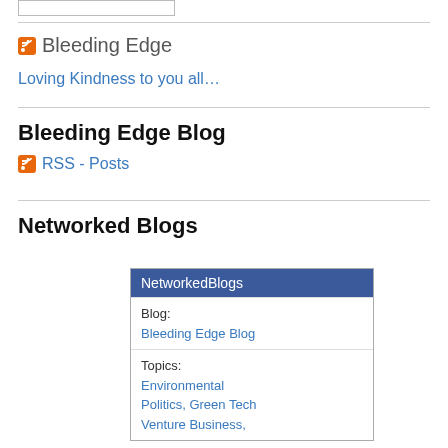Bleeding Edge
Loving Kindness to you all…
Bleeding Edge Blog
RSS - Posts
Networked Blogs
| NetworkedBlogs |
| --- |
| Blog: | Bleeding Edge Blog |
| Topics: | Environmental Politics, Green Tech Venture Business, |